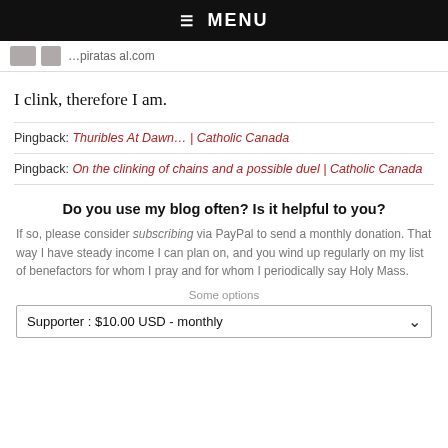☰ MENU
I clink, therefore I am.
Pingback: Thuribles At Dawn… | Catholic Canada
Pingback: On the clinking of chains and a possible duel | Catholic Canada
Do you use my blog often? Is it helpful to you?
If so, please consider subscribing via PayPal to send a monthly donation. That way I have steady income I can plan on, and you wind up regularly on my list of benefactors for whom I pray and for whom I periodically say Holy Mass.
Some options
Supporter : $10.00 USD - monthly